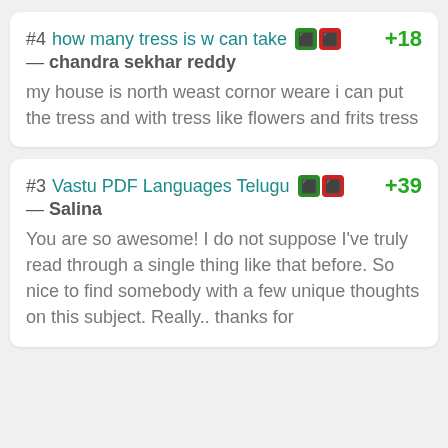#4 how many tress is w can take — chandra sekhar reddy
my house is north weast cornor weare i can put the tress and with tress like flowers and frits tress
+18
#3 Vastu PDF Languages Telugu — Salina
You are so awesome! I do not suppose I've truly read through a single thing like that before. So nice to find somebody with a few unique thoughts on this subject. Really.. thanks for
+39